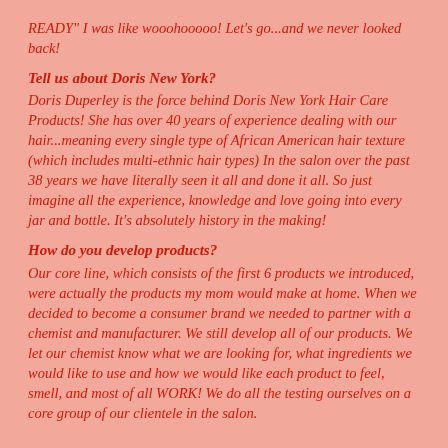READY" I was like wooohooooo! Let's go...and we never looked back!
Tell us about Doris New York?
Doris Duperley is the force behind Doris New York Hair Care Products! She has over 40 years of experience dealing with our hair...meaning every single type of African American hair texture (which includes multi-ethnic hair types) In the salon over the past 38 years we have literally seen it all and done it all. So just imagine all the experience, knowledge and love going into every jar and bottle. It's absolutely history in the making!
How do you develop products?
Our core line, which consists of the first 6 products we introduced, were actually the products my mom would make at home. When we decided to become a consumer brand we needed to partner with a chemist and manufacturer. We still develop all of our products. We let our chemist know what we are looking for, what ingredients we would like to use and how we would like each product to feel, smell, and most of all WORK! We do all the testing ourselves on a core group of our clientele in the salon.